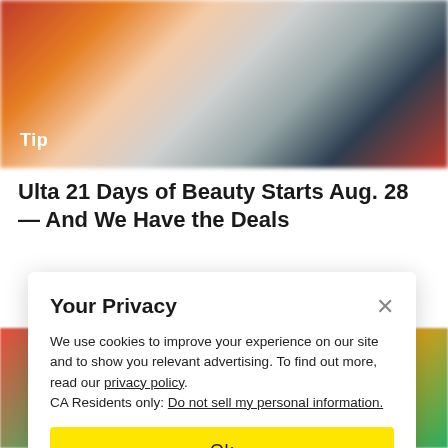[Figure (photo): Blurred colorful background hero image with red, orange, white, grey and dark tones, resembling a retail/beauty store scene]
Tip
Ulta 21 Days of Beauty Starts Aug. 28 — And We Have the Deals
[Figure (photo): Blurred colorful background image at bottom of page with green, red, and yellow product colors]
Your Privacy
We use cookies to improve your experience on our site and to show you relevant advertising. To find out more, read our privacy policy. CA Residents only: Do not sell my personal information.
Ok